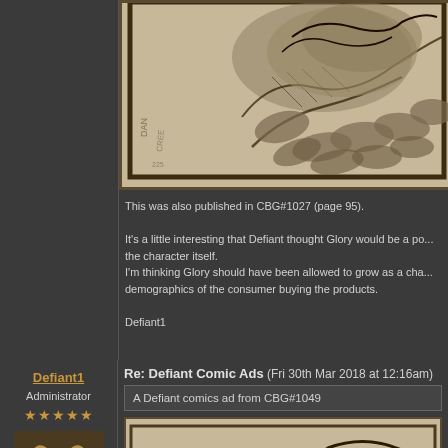[Figure (illustration): Black and white comic book illustration showing a large creature or monster with detailed ink work on aged/cream colored paper background with a dark border frame]
This was also published in CBG#1027 (page 95).

It's a little interesting that Defiant thought Glory would be a po... the character itself.
I'm thinking Glory should have been allowed to grow as a cha... demographics of the consumer buying the products.

Defiant1
Defiant1
Administrator
[Figure (photo): Avatar photo of a small fluffy dog or cat]
Re: Defiant Comic Ads (Fri 30th Mar 2018 at 12:16am)
A Defiant comics ad from CBG#1049
[Figure (illustration): Bottom of another comic book advertisement image, partially visible]